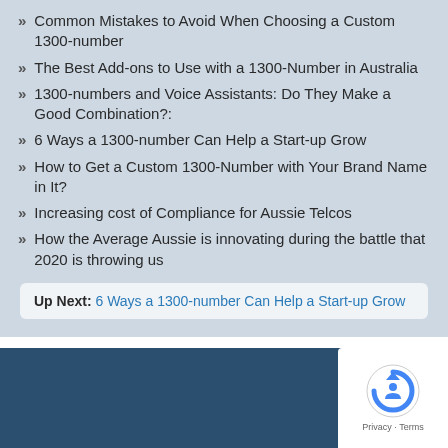Common Mistakes to Avoid When Choosing a Custom 1300-number
The Best Add-ons to Use with a 1300-Number in Australia
1300-numbers and Voice Assistants: Do They Make a Good Combination?:
6 Ways a 1300-number Can Help a Start-up Grow
How to Get a Custom 1300-Number with Your Brand Name in It?
Increasing cost of Compliance for Aussie Telcos
How the Average Aussie is innovating during the battle that 2020 is throwing us
Up Next: 6 Ways a 1300-number Can Help a Start-up Grow
[Figure (logo): reCAPTCHA badge with Privacy and Terms text]